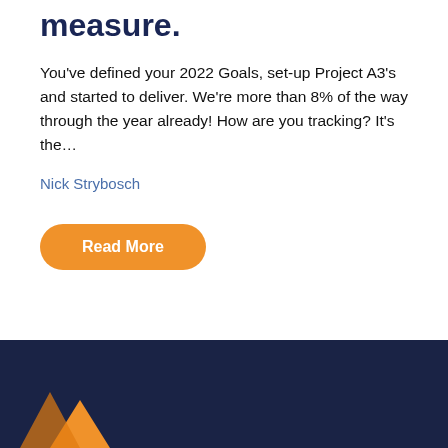measure.
You've defined your 2022 Goals, set-up Project A3's and started to deliver. We're more than 8% of the way through the year already! How are you tracking? It's the…
Nick Strybosch
Read More
[Figure (logo): Orange diamond/house logo on dark navy blue footer background]